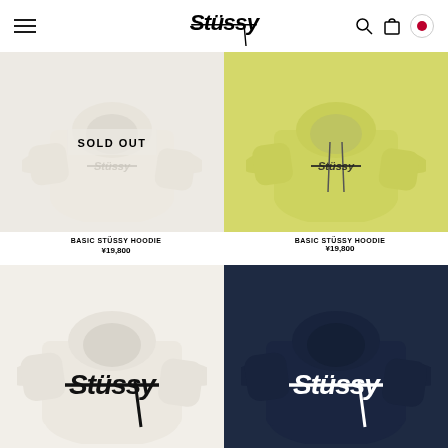Stussy navigation header with logo, search, cart, and Japan flag icons
[Figure (photo): White/cream Stussy hoodie (back view) with SOLD OUT overlay text]
BASIC STÜSSY HOODIE
¥19,800
[Figure (photo): Yellow Stussy hoodie (back view) with Stussy logo text]
BASIC STÜSSY HOODIE
¥19,800
[Figure (photo): White Stussy hoodie (back view) with large Stussy logo]
[Figure (photo): Navy Stussy hoodie (back view) with large white Stussy logo]